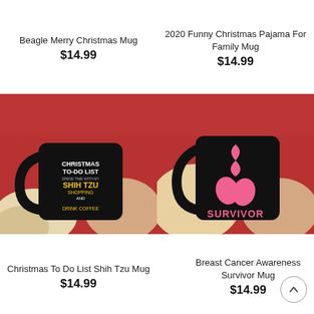Beagle Merry Christmas Mug
$14.99
2020 Funny Christmas Pajama For Family Mug
$14.99
[Figure (photo): Person holding a black mug with Christmas To-Do List Shih Tzu design against a red knit sweater background]
[Figure (photo): Person holding a black mug with Breast Cancer Awareness Survivor design featuring pink boxing gloves and ribbon, against a red knit sweater background]
Christmas To Do List Shih Tzu Mug
$14.99
Breast Cancer Awareness Survivor Mug
$14.99